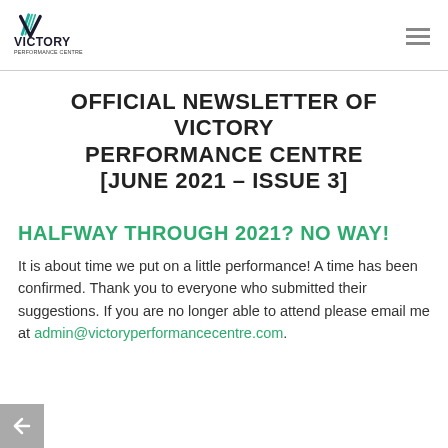[Figure (logo): Victory Performance Centre logo with teal/green stylized V graphic and bold text]
OFFICIAL NEWSLETTER OF VICTORY PERFORMANCE CENTRE [JUNE 2021 – ISSUE 3]
HALFWAY THROUGH 2021? NO WAY!
It is about time we put on a little performance! A time has been confirmed. Thank you to everyone who submitted their suggestions. If you are no longer able to attend please email me at admin@victoryperformancecentre.com.